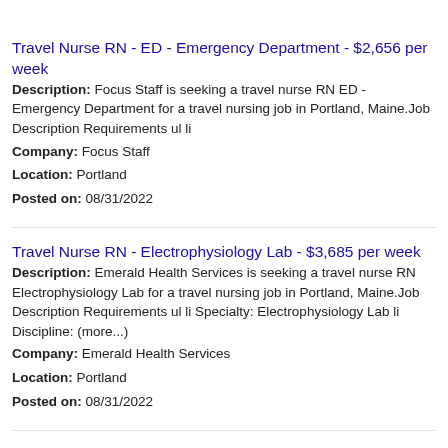Travel Nurse RN - ED - Emergency Department - $2,656 per week
Description: Focus Staff is seeking a travel nurse RN ED - Emergency Department for a travel nursing job in Portland, Maine.Job Description Requirements ul li
Company: Focus Staff
Location: Portland
Posted on: 08/31/2022
Travel Nurse RN - Electrophysiology Lab - $3,685 per week
Description: Emerald Health Services is seeking a travel nurse RN Electrophysiology Lab for a travel nursing job in Portland, Maine.Job Description Requirements ul li Specialty: Electrophysiology Lab li Discipline: (more...)
Company: Emerald Health Services
Location: Portland
Posted on: 08/31/2022
Internal Medicine - Physician Opportunity only
Description: Physician (MD qualifications required 100 Outpatient